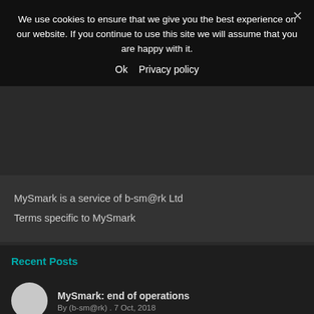We use cookies to ensure that we give you the best experience on our website. If you continue to use this site we will assume that you are happy with it.
Ok   Privacy policy
MySmark is a service of b-sm@rk Ltd
Terms specific to MySmark
Recent Posts
MySmark: end of operations
By (b-sm@rk) . 7 Oct, 2018
First insights on #DP Trieste
By (b-sm@rk) . 1 Jun, 2018